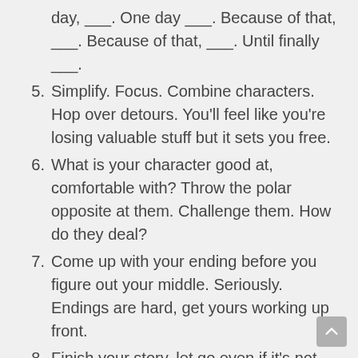(continuation) day, ___. One day ___. Because of that, ___. Because of that, ___. Until finally ___.
5. Simplify. Focus. Combine characters. Hop over detours. You'll feel like you're losing valuable stuff but it sets you free.
6. What is your character good at, comfortable with? Throw the polar opposite at them. Challenge them. How do they deal?
7. Come up with your ending before you figure out your middle. Seriously. Endings are hard, get yours working up front.
8. Finish your story, let go even if it's not perfect. In an ideal world you have both, but move on. Do better next time.
9. When you're stuck, make a list of what